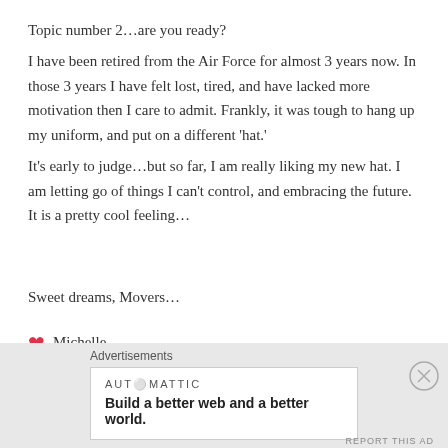Topic number 2…are you ready?
I have been retired from the Air Force for almost 3 years now. In those 3 years I have felt lost, tired, and have lacked more motivation then I care to admit. Frankly, it was tough to hang up my uniform, and put on a different ‘hat.’
It’s early to judge…but so far, I am really liking my new hat. I am letting go of things I can’t control, and embracing the future. It is a pretty cool feeling…
Sweet dreams, Movers…
❤ Michelle
Advertisements
[Figure (logo): Automattic logo with tagline: Build a better web and a better world.]